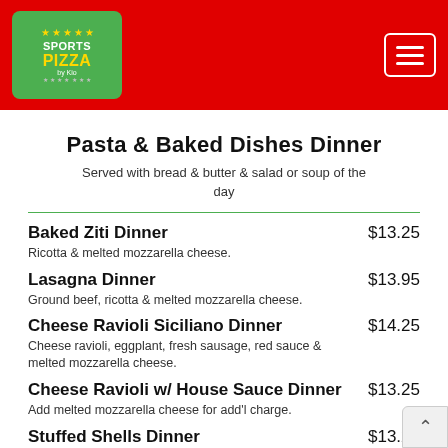Sports Pizza by Kio
Pasta & Baked Dishes Dinner
Served with bread & butter & salad or soup of the day
Baked Ziti Dinner $13.25 — Ricotta & melted mozzarella cheese.
Lasagna Dinner $13.95 — Ground beef, ricotta & melted mozzarella cheese.
Cheese Ravioli Siciliano Dinner $14.25 — Cheese ravioli, eggplant, fresh sausage, red sauce & melted mozzarella cheese.
Cheese Ravioli w/ House Sauce Dinner $13.25 — Add melted mozzarella cheese for add'l charge.
Stuffed Shells Dinner $13.25